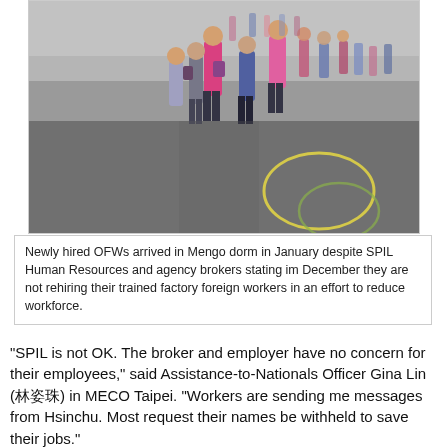[Figure (photo): Photo of newly hired OFWs (Overseas Filipino Workers) arriving at Mengo dorm. People are walking on a paved outdoor area, some wearing pink and dark jackets, carrying bags. Yellow painted circles visible on the ground.]
Newly hired OFWs arrived in Mengo dorm in January despite SPIL Human Resources and agency brokers stating im December they are not rehiring their trained factory foreign workers in an effort to reduce workforce.
“SPIL is not OK. The broker and employer have no concern for their employees,” said Assistance-to-Nationals Officer Gina Lin (林娟珠) in MECO Taipei. “Workers are sending me messages from Hsinchu. Most request their names be withheld to save their jobs.”
SPIL’s manpower agencies also are supposed to help its OFWs extend their work visas in Taiwan with the implementation of the no-exit policy. Chang stated in her email. “If the company finally decides not to rehire the foreign worker, and the worker intends to stay and continue to work at Taiwan, our company will help to introduce he/she enables to transfer to other company according to the applicable clauses under Foreign Employment Service Act.”
“Production managers expected us to have our contracts